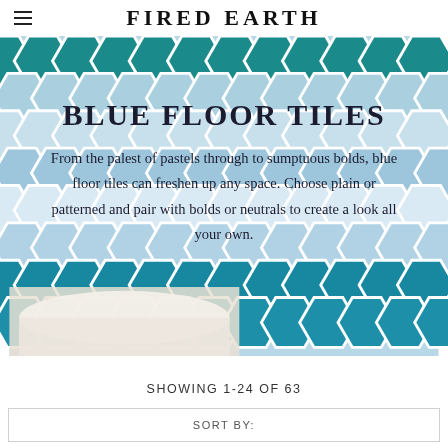FIRED EARTH
[Figure (photo): Hexagonal blue and teal floor tiles arranged in a honeycomb pattern, ranging from pale pastel blue to deep teal, with white grout lines. Overlaid with text about blue floor tiles. Bottom portion shows a glimpse of a bathroom setting.]
BLUE FLOOR TILES
From the palest of pastels through to sumptuous bolds, blue floor tiles can freshen up any space. Choose plain or patterned and pair with bolds or neutrals to create a look all your own.
SHOWING 1-24 OF 63
SORT BY: